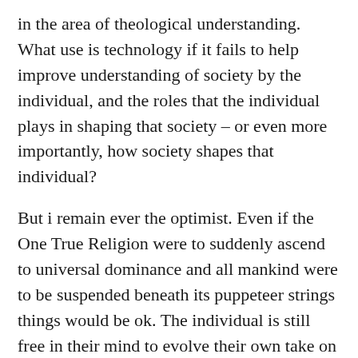in the area of theological understanding. What use is technology if it fails to help improve understanding of society by the individual, and the roles that the individual plays in shaping that society – or even more importantly, how society shapes that individual?
But i remain ever the optimist. Even if the One True Religion were to suddenly ascend to universal dominance and all mankind were to be suspended beneath its puppeteer strings things would be ok. The individual is still free in their mind to evolve their own take on the world as they see it. In such a world, Apathy would come to the rescue of the masses of the great unwashed, as even the universal acceptance of a single doctrine can only go so far to intrude into the average person's world. We will all still want, need, love, hate, desire, envy, covet, admire, and laugh as we buy, sell, cajole, encourage, dominate, submit to, pander to,